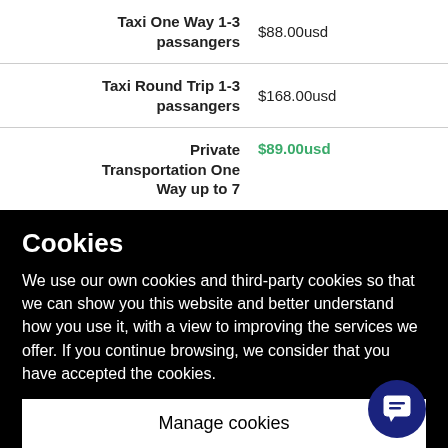| Service | Price |
| --- | --- |
| Taxi One Way 1-3 passangers | $88.00usd |
| Taxi Round Trip 1-3 passangers | $168.00usd |
| Private Transportation One Way up to 7 | $89.00usd |
Cookies
We use our own cookies and third-party cookies so that we can show you this website and better understand how you use it, with a view to improving the services we offer. If you continue browsing, we consider that you have accepted the cookies.
Manage cookies
Accept all